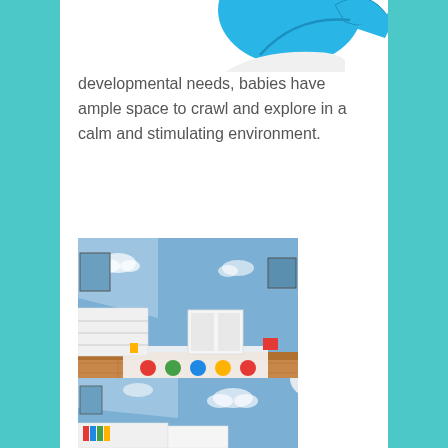[Figure (illustration): Partial blue bird illustration cropped at top of page]
developmental needs, babies have ample space to crawl and explore in a calm and stimulating environment.
[Figure (photo): Childcare room interior with blue walls painted with clouds, white low shelving units, colorful circular rug on hardwood floor with toys scattered around]
[Figure (photo): Same childcare room interior partially visible, showing blue walls with cloud decorations and white storage units]